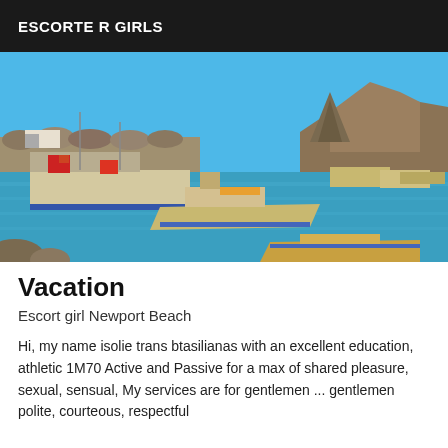ESCORTE R GIRLS
[Figure (photo): Harbor scene with colorful fishing boats moored in blue water, rocky breakwater and dramatic rocky peak in background under clear blue sky]
Vacation
Escort girl Newport Beach
Hi, my name isolie trans btasilianas with an excellent education, athletic 1M70 Active and Passive for a max of shared pleasure, sexual, sensual, My services are for gentlemen ... gentlemen polite, courteous, respectful